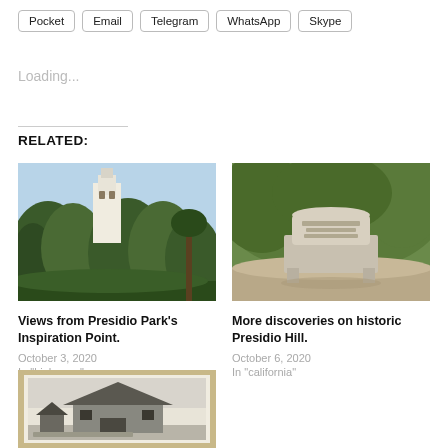Pocket
Email
Telegram
WhatsApp
Skype
Loading...
RELATED:
[Figure (photo): Outdoor photo showing trees and a white building with a tower (mission-style architecture) visible through the foliage, blue sky above.]
Views from Presidio Park's Inspiration Point.
October 3, 2020
In "highways"
[Figure (photo): Outdoor photo showing a stone bench monument in a shaded garden area with green bushes and trees. The stone marker has text on it.]
More discoveries on historic Presidio Hill.
October 6, 2020
In "california"
[Figure (photo): Black and white photograph/sketch of an old barn or wooden structure with a sloped roof, displayed in a frame.]